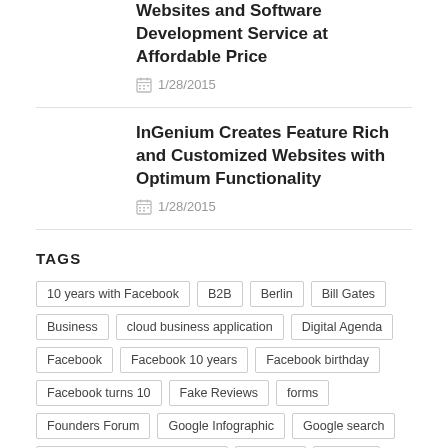Websites and Software Development Service at Affordable Price
1/28/2015
InGenium Creates Feature Rich and Customized Websites with Optimum Functionality
1/28/2015
TAGS
10 years with Facebook
B2B
Berlin
Bill Gates
Business
cloud business application
Digital Agenda
Facebook
Facebook 10 years
Facebook birthday
Facebook turns 10
Fake Reviews
forms
Founders Forum
Google Infographic
Google search
Google+ timeline Infographicm
investing
Investor
Investors
Jaan Tallinn
Janus Friis